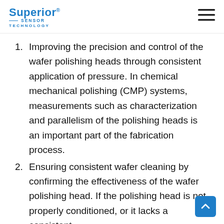Superior Sensor Technology
Improving the precision and control of the wafer polishing heads through consistent application of pressure. In chemical mechanical polishing (CMP) systems, measurements such as characterization and parallelism of the polishing heads is an important part of the fabrication process.
Ensuring consistent wafer cleaning by confirming the effectiveness of the wafer polishing head. If the polishing head is not properly conditioned, or it lacks a consistent roughness on its surface, then external…